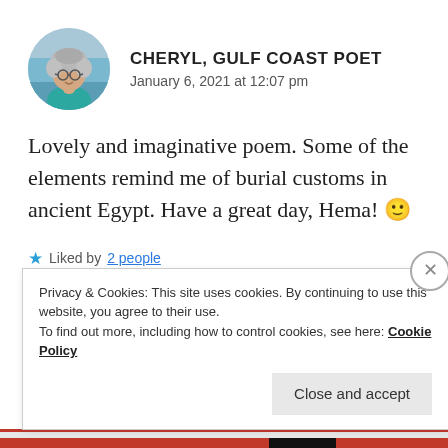[Figure (photo): Circular avatar photo of a woman with curly gray hair and glasses, wearing a teal top, outdoors near water]
CHERYL, GULF COAST POET
January 6, 2021 at 12:07 pm
Lovely and imaginative poem. Some of the elements remind me of burial customs in ancient Egypt. Have a great day, Hema! 🙂
★ Liked by 2 people
Privacy & Cookies: This site uses cookies. By continuing to use this website, you agree to their use.
To find out more, including how to control cookies, see here: Cookie Policy
Close and accept